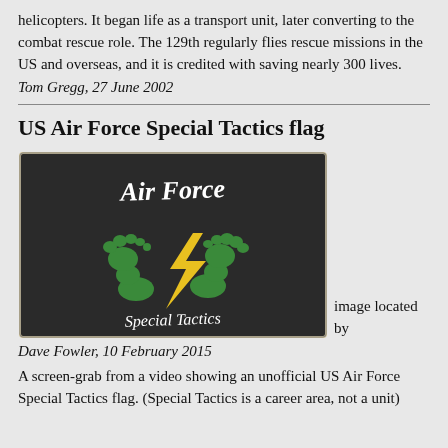helicopters. It began life as a transport unit, later converting to the combat rescue role. The 129th regularly flies rescue missions in the US and overseas, and it is credited with saving nearly 300 lives.
Tom Gregg, 27 June 2002
US Air Force Special Tactics flag
[Figure (photo): A black flag with 'Air Force' written in white handwritten text at the top, two green footprints with a yellow lightning bolt crossing through them in the center, and 'Special Tactics' written in white handwritten text at the bottom.]
image located by Dave Fowler, 10 February 2015
A screen-grab from a video showing an unofficial US Air Force Special Tactics flag. (Special Tactics is a career area, not a unit)...